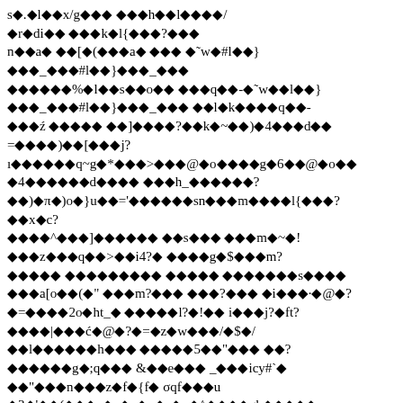s�.� l�� x/g��� ��� h�� l����/ � r� di�� ��� k� l{ ���?��� n�� a� ��[�(��� a� ��� � � w�#l��} ���_���#l��}���_��� ������%� l�� s�� o�� ��� q��-�� w�� l��} ���_���#l��}���_��� �� l� k� ��� q�- ���ź ����� ��]����?�� k�~��)� 4��� d�� =����)��[��� j? ı����� q~g�*���>���@� o���� g� 6��@� o�� � 4������ d���� ��� h_������? ��)�π�)o�}u��='������ sn��� m���� l{���? �� x� c? ����^���]������ �� s��� ��� m�~�! ��� z��� q��>�� i4?� ���� g�$��� m? ����� ��������� ����� ������� s���� ��� a[o��(�" ��� m?��� ���?��� � i���·� @�? �=���� 2o� ht_� ����� l?�!�� i��� j?� ft? ����|���ć�@�?�=� z� w���/�$�/ �� l������ h��� ����� 5��"��� ��? ������ g�;q��� &�� e��� _�� icy#`� ��"��� n��� z� f�{f� σqf��� u � 3�'��(��� e� p� e� p� e� p�^���� gk����� � k��#��� k����� ���� xm�����%� l��#��� �� h� j(��(��(